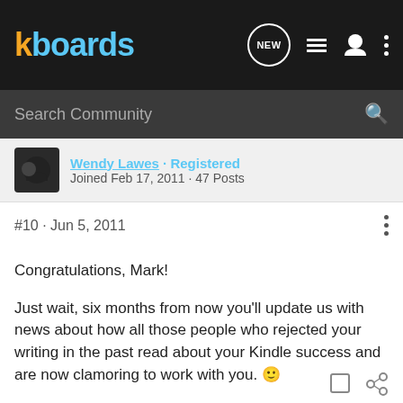kboards
Search Community
Wendy Lawes · Registered
Joined Feb 17, 2011 · 47 Posts
#10 · Jun 5, 2011
Congratulations, Mark!

Just wait, six months from now you'll update us with news about how all those people who rejected your writing in the past read about your Kindle success and are now clamoring to work with you. 🙂

Keep us posted on how the conquering of America goes!